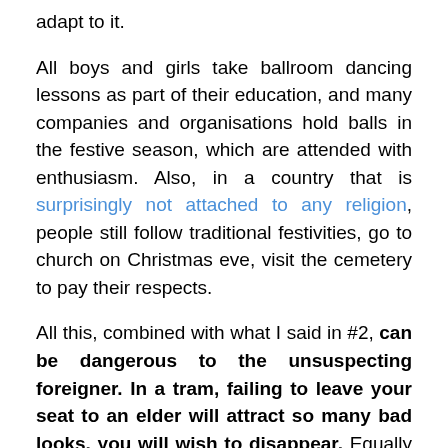adapt to it.
All boys and girls take ballroom dancing lessons as part of their education, and many companies and organisations hold balls in the festive season, which are attended with enthusiasm. Also, in a country that is surprisingly not attached to any religion, people still follow traditional festivities, go to church on Christmas eve, visit the cemetery to pay their respects.
All this, combined with what I said in #2, can be dangerous to the unsuspecting foreigner. In a tram, failing to leave your seat to an elder will attract so many bad looks, you will wish to disappear. Equally bad is when you mess up with the tipping in a café or a restaurant.
*